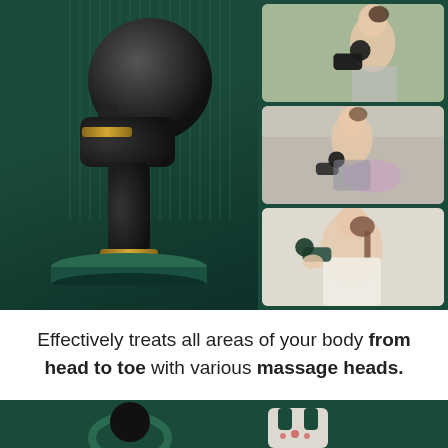[Figure (photo): Product photo of a black massage gun on a dark green background with gold accents, displayed on a cylindrical green pedestal. Three side photos show women using the massage gun: one woman in a gym, one woman sitting on the floor using it on her knee, and one woman applying it to her shoulder.]
Effectively treats all areas of your body from head to toe with various massage heads.
[Figure (photo): Partial bottom image showing massage gun attachments on a dark green background: a round ball attachment on the left and a fork/U-shaped attachment on the right.]